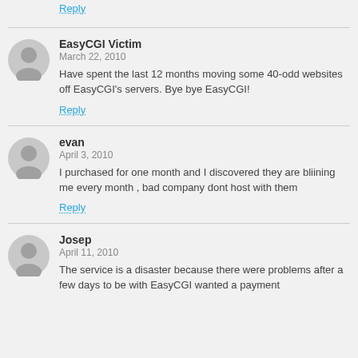Reply
EasyCGI Victim
March 22, 2010
Have spent the last 12 months moving some 40-odd websites off EasyCGI's servers. Bye bye EasyCGI!
Reply
evan
April 3, 2010
I purchased for one month and I discovered they are bliining me every month , bad company dont host with them
Reply
Josep
April 11, 2010
The service is a disaster because there were problems after a few days to be with EasyCGI wanted a payment